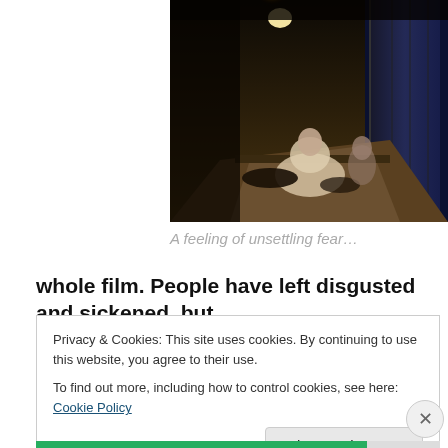[Figure (photo): Dark scene showing a dimly lit Japanese-style corridor or hallway with a person or figure crouching on the floor, a warm overhead light visible, and a blue-lit doorway to the right.]
A feeling of unsettling fear…
whole film. People have left disgusted and sickened, but
Privacy & Cookies: This site uses cookies. By continuing to use this website, you agree to their use.
To find out more, including how to control cookies, see here: Cookie Policy
Close and accept